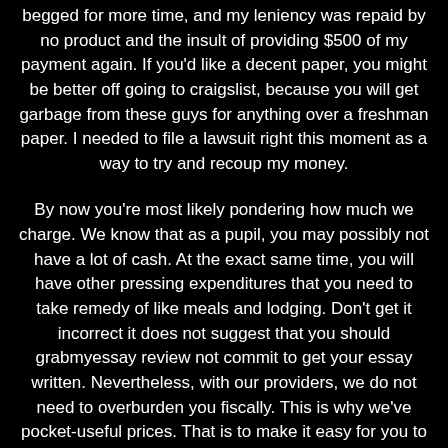begged for more time, and my leniency was repaid by no product and the insult of providing $500 of my payment again. If you'd like a decent paper, you might be better off going to craigslist, because you will get garbage from these guys for anything over a freshman paper. I needed to file a lawsuit right this moment as a way to try and recoup my money.
By now you're most likely pondering how much we charge. We know that as a pupil, you may possibly not have a lot of cash. At the exact same time, you will have other pressing expenditures that you need to take remedy of like meals and lodging. Don't get it incorrect it does not suggest that you should grabmyessay review not commit to get your essay written. Nevertheless, with our providers, we do not need to overburden you fiscally. This is why we've pocket-useful prices. That is to make it easy for you to have that wonderful essay. Even with the fee-efficient fees, we even now assure that you simply get a high quality...